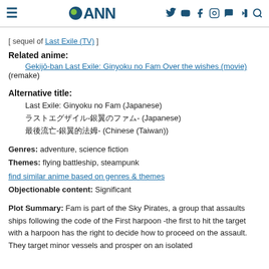ANN navigation header
[ sequel of Last Exile (TV) ]
Related anime:
Gekijō-ban Last Exile: Ginyoku no Fam Over the wishes (movie) (remake)
Alternative title:
Last Exile: Ginyoku no Fam (Japanese)
ラストエグザイル-銀翼のファム- (Japanese)
最後流亡-銀翼的法姆- (Chinese (Taiwan))
Genres: adventure, science fiction
Themes: flying battleship, steampunk
find similar anime based on genres & themes
Objectionable content: Significant
Plot Summary: Fam is part of the Sky Pirates, a group that assaults ships following the code of the First harpoon -the first to hit the target with a harpoon has the right to decide how to proceed on the assault. They target minor vessels and prosper on an isolated